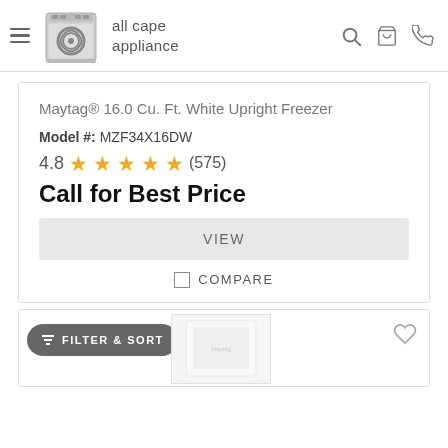all cape appliance
Maytag® 16.0 Cu. Ft. White Upright Freezer
Model #: MZF34X16DW
4.8 ★★★★★ (575)
Call for Best Price
VIEW
COMPARE
FILTER & SORT